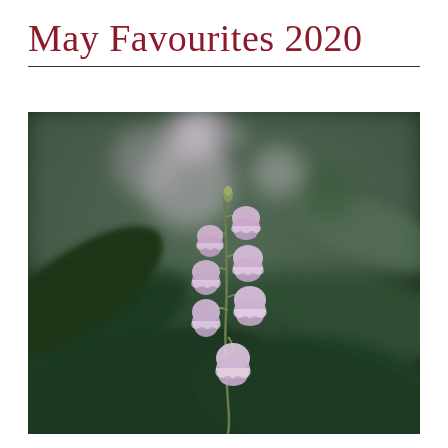May Favourites 2020
[Figure (photo): Close-up macro photograph of lily of the valley flowers with pinkish-purple bell-shaped blooms on a stem, set against a blurred dark green leafy background with soft bokeh lighting in the upper portion.]